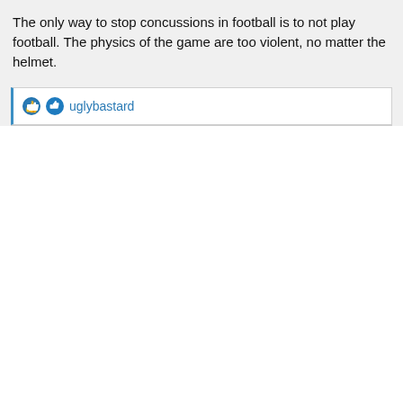The only way to stop concussions in football is to not play football. The physics of the game are too violent, no matter the helmet.
uglybastard